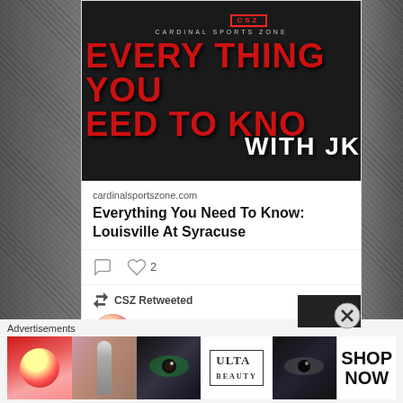[Figure (screenshot): Cardinal Sports Zone promotional image with red graffiti-style text on dark asphalt background reading 'EVERYTHING YOU NEED TO KNO' with 'WITH JH' and CSZ logo]
cardinalsportszone.com
Everything You Need To Know: Louisville At Syracuse
[Figure (infographic): Tweet interaction icons: comment bubble and heart with count 2]
CSZ Retweeted
🔱 Alan Thomas 🔱 @CardN_AL · Aug 31
[Figure (screenshot): Ulta Beauty advertisement banner with beauty product imagery and SHOP NOW text]